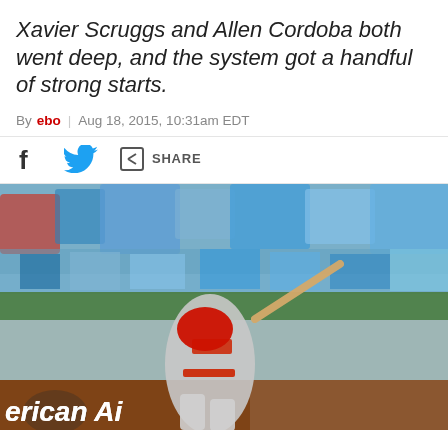Xavier Scruggs and Allen Cordoba both went deep, and the system got a handful of strong starts.
By ebo | Aug 18, 2015, 10:31am EDT
[Figure (photo): Baseball player in gray St. Louis Cardinals uniform and red batting helmet mid-swing at bat, with a crowded stadium of fans in blue seats visible in background. American Airlines advertisement visible on outfield wall at bottom.]